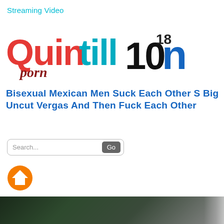Streaming Video
[Figure (logo): Quintillion porn website logo with stylized colorful text: 'Quin' in red, 'porn' in dark red italic, 'till' in blue/teal, '10' in black bold, superscript '18', 'n' in blue]
Bisexual Mexican Men Suck Each Other S Big Uncut Vergas And Then Fuck Each Other
[Figure (screenshot): Search bar with placeholder text 'Search...' and a gray 'Go' button]
[Figure (illustration): Orange home icon button (house symbol inside orange circle)]
[Figure (photo): Partial video thumbnail showing dark green/black background with some figure, and light area on the right edge]